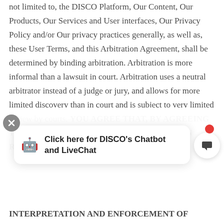not limited to, the DISCO Platform, Our Content, Our Products, Our Services and User interfaces, Our Privacy Policy and/or Our privacy practices generally, as well as, these User Terms, and this Arbitration Agreement, shall be determined by binding arbitration. Arbitration is more informal than a lawsuit in court. Arbitration uses a neutral arbitrator instead of a judge or jury, and allows for more limited discovery than in court and is subject to very limited review by courts. YOU AGREE THAT, BY AGREEING TO THESE USER TERMS, THE ARBITRATION RULES OF THE INTERPRETATION AND ENFORCEMENT OF
[Figure (screenshot): Live chat overlay widget with robot emoji icon, text 'Click here for DISCO’s Chatbot and LiveChat', close button, and chat button with red notification dot.]